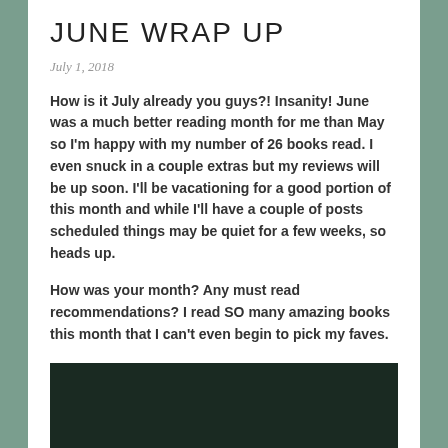JUNE WRAP UP
July 1, 2018
How is it July already you guys?! Insanity! June was a much better reading month for me than May so I'm happy with my number of 26 books read. I even snuck in a couple extras but my reviews will be up soon. I'll be vacationing for a good portion of this month and while I'll have a couple of posts scheduled things may be quiet for a few weeks, so heads up.
How was your month? Any must read recommendations? I read SO many amazing books this month that I can't even begin to pick my faves.
[Figure (photo): Dark/black image, partially visible at bottom of page]